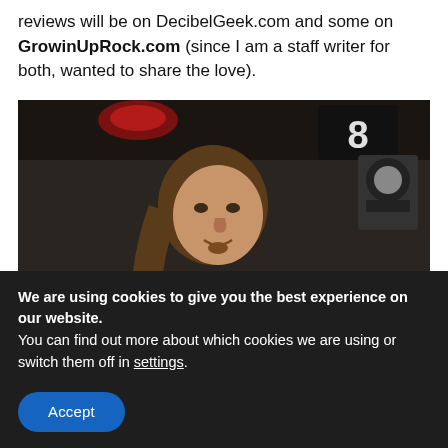reviews will be on DecibelGeek.com and some on GrowinUpRock.com (since I am a staff writer for both, wanted to share the love).
[Figure (photo): Man in black leather jacket holding a dark signed box/item in front of a large professional recording studio mixing console. Studio setting with monitors, faders, and glass booth visible in background.]
We are using cookies to give you the best experience on our website.
You can find out more about which cookies we are using or switch them off in settings.
Accept